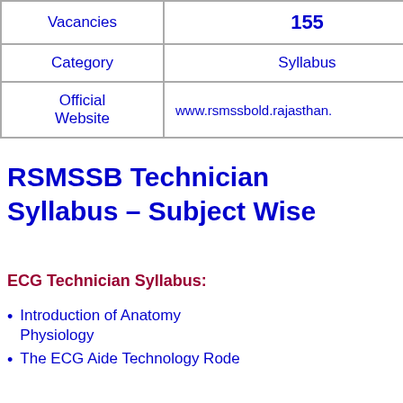| Category | Syllabus |
| --- | --- |
| Vacancies | 155 |
| Category | Syllabus |
| Official Website | www.rsmssbold.rajasthan. |
RSMSSB Technician Syllabus – Subject Wise
ECG Technician Syllabus:
Introduction of Anatomy Physiology
The ECG Aide Technology Rode